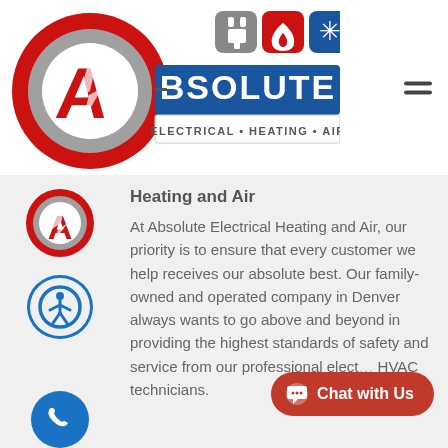[Figure (logo): Absolute Electrical Heating and Air company logo with large red A in circle, blue banner reading BSOLUTE, and service icons for electrical, heating, and air]
[Figure (logo): Small Absolute company logo (A in red circle) in content area sidebar]
[Figure (illustration): Blue circle accessibility icon (person with arms and legs outstretched in circle)]
Heating and Air
At Absolute Electrical Heating and Air, our priority is to ensure that every customer we help receives our absolute best. Our family-owned and operated company in Denver always wants to go above and beyond in providing the highest standards of safety and service from our professional elect... HVAC technicians.
[Figure (illustration): Blue circular phone call button with white phone handset icon]
[Figure (illustration): Red rounded Chat with Us button with speech bubble icon]